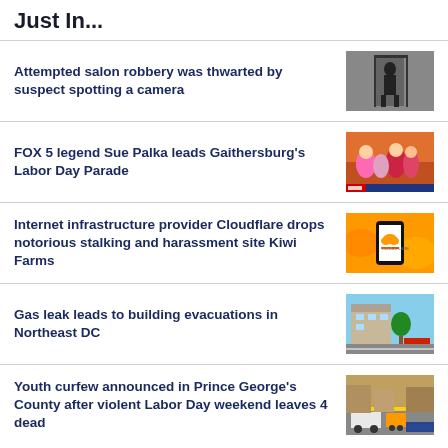Just In...
Attempted salon robbery was thwarted by suspect spotting a camera
[Figure (photo): Black and white security camera image of a person near a doorway]
FOX 5 legend Sue Palka leads Gaithersburg's Labor Day Parade
[Figure (photo): TV news segment showing Sue Palka at Labor Day parade with crowd]
Internet infrastructure provider Cloudflare drops notorious stalking and harassment site Kiwi Farms
[Figure (photo): Phone with Cloudflare logo on orange background]
Gas leak leads to building evacuations in Northeast DC
[Figure (photo): Street scene with fire trucks and vehicles in Northeast DC]
Youth curfew announced in Prince George's County after violent Labor Day weekend leaves 4 dead
[Figure (photo): Police tape and vehicles at Prince George's County scene]